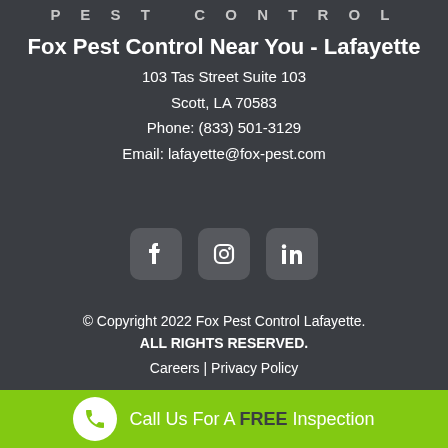PEST CONTROL
Fox Pest Control Near You - Lafayette
103 Tas Street Suite 103
Scott, LA 70583
Phone: (833) 501-3129
Email: lafayette@fox-pest.com
[Figure (logo): Social media icons: Facebook, Instagram, LinkedIn]
© Copyright 2022 Fox Pest Control Lafayette.
ALL RIGHTS RESERVED.
Careers | Privacy Policy
Call Us For A FREE Inspection